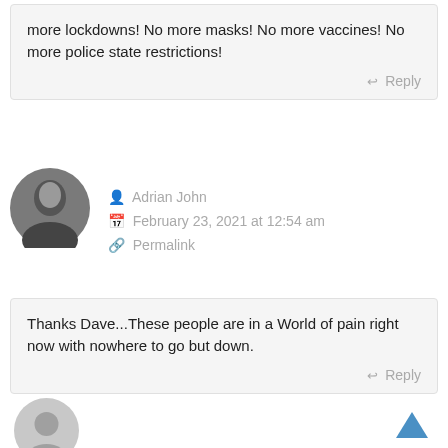more lockdowns! No more masks! No more vaccines! No more police state restrictions!
Reply
[Figure (photo): Circular avatar photo of Adrian John, grayscale portrait]
Adrian John
February 23, 2021 at 12:54 am
Permalink
Thanks Dave...These people are in a World of pain right now with nowhere to go but down.
Reply
[Figure (illustration): Circular generic gray user avatar placeholder]